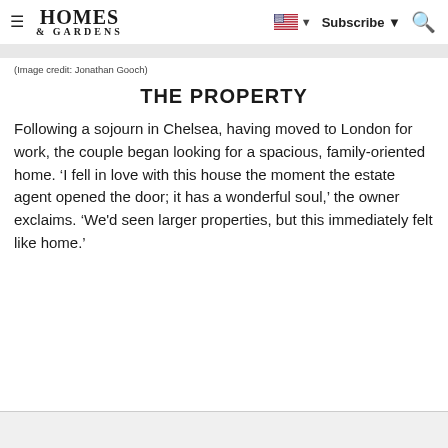HOMES & GARDENS — Subscribe — Search — US flag
(Image credit: Jonathan Gooch)
THE PROPERTY
Following a sojourn in Chelsea, having moved to London for work, the couple began looking for a spacious, family-oriented home. ‘I fell in love with this house the moment the estate agent opened the door; it has a wonderful soul,’ the owner exclaims. ‘We'd seen larger properties, but this immediately felt like home.’